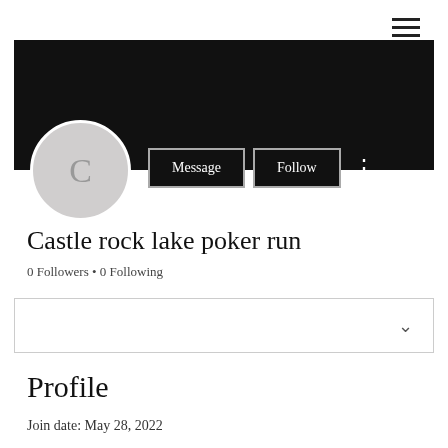[Figure (screenshot): Hamburger menu icon (three horizontal lines) in top right corner]
[Figure (photo): Black banner cover photo]
[Figure (illustration): Gray circular avatar with letter C]
Message
Follow
Castle rock lake poker run
0 Followers • 0 Following
[Figure (other): Dropdown selector bar with chevron]
Profile
Join date: May 28, 2022